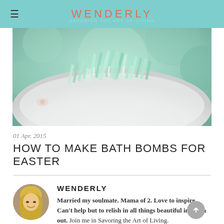WENDERLY
[Figure (photo): Close-up photo of a white plate or bowl filled with aqua/teal iridescent shredded glass or cellophane Easter grass, with soft bokeh green background]
01 Apr. 2015
HOW TO MAKE BATH BOMBS FOR EASTER
WENDERLY
Married my soulmate. Mama of 2. Love to inspire. Can't help but to relish in all things beautiful inside & out. Join me in Savoring the Art of Living.